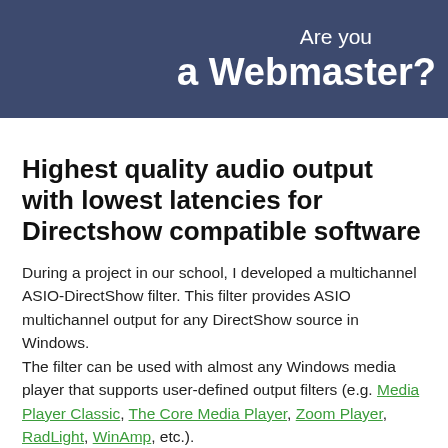[Figure (other): Dark navy blue banner with white text: 'Are you' on first line, 'a Webmaster?' in large bold text on second line, right-aligned]
Highest quality audio output with lowest latencies for Directshow compatible software
During a project in our school, I developed a multichannel ASIO-DirectShow filter. This filter provides ASIO multichannel output for any DirectShow source in Windows. The filter can be used with almost any Windows media player that supports user-defined output filters (e.g. Media Player Classic, The Core Media Player, Zoom Player, RadLight, WinAmp, etc.).